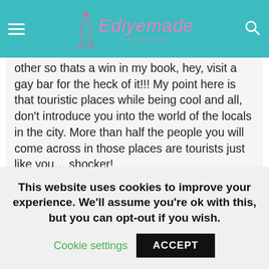Ediyemade Handmade
other so thats a win in my book, hey, visit a gay bar for the heck of it!!! My point here is that touristic places while being cool and all, don't introduce you into the world of the locals in the city. More than half the people you will come across in those places are tourists just like you... shocker!
Get Your Butt Into A Döner Shop
This is the best thing since the Burger King whopper! It is fast food for sure, but it is much more than that. It is an adventurous taste of
This website uses cookies to improve your experience. We'll assume you're ok with this, but you can opt-out if you wish.
Cookie settings    ACCEPT